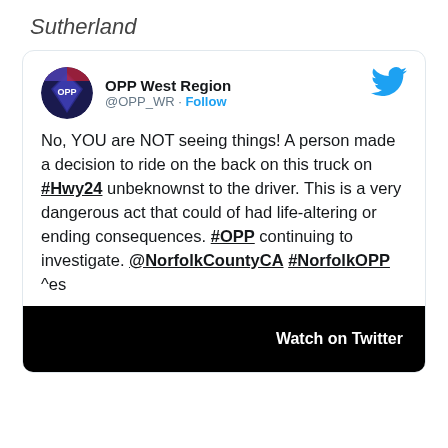Sutherland
[Figure (screenshot): Tweet from OPP West Region (@OPP_WR) with avatar and Twitter bird logo. Tweet text: No, YOU are NOT seeing things! A person made a decision to ride on the back on this truck on #Hwy24 unbeknownst to the driver. This is a very dangerous act that could of had life-altering or ending consequences. #OPP continuing to investigate. @NorfolkCountyCA #NorfolkOPP ^es. Includes a video preview with 'Watch on Twitter' label.]